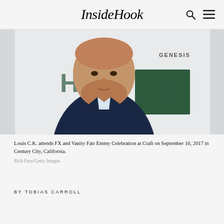InsideHook
[Figure (photo): Louis C.K. at a red carpet event, wearing a dark navy suit jacket over a light shirt, with an FX backdrop and Genesis logo visible in the background.]
Louis C.K. attends FX and Vanity Fair Emmy Celebration at Craft on September 16, 2017 in Century City, California.
Rich Fury/Getty Images
BY TOBIAS CARROLL